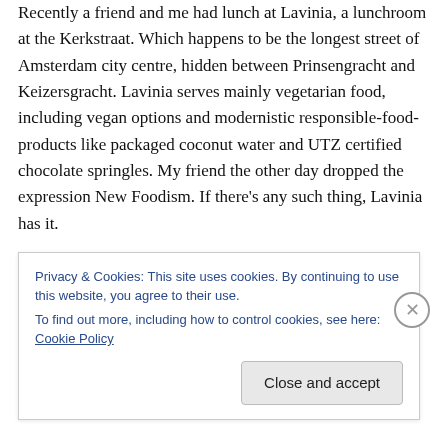Recently a friend and me had lunch at Lavinia, a lunchroom at the Kerkstraat. Which happens to be the longest street of Amsterdam city centre, hidden between Prinsengracht and Keizersgracht. Lavinia serves mainly vegetarian food, including vegan options and modernistic responsible-food-products like packaged coconut water and UTZ certified chocolate springles. My friend the other day dropped the expression New Foodism. If there's any such thing, Lavinia has it.
Sustainable and vintage furniture, tap water garnished with citrus fruits and mint offered for free at the counter.
Privacy & Cookies: This site uses cookies. By continuing to use this website, you agree to their use.
To find out more, including how to control cookies, see here: Cookie Policy